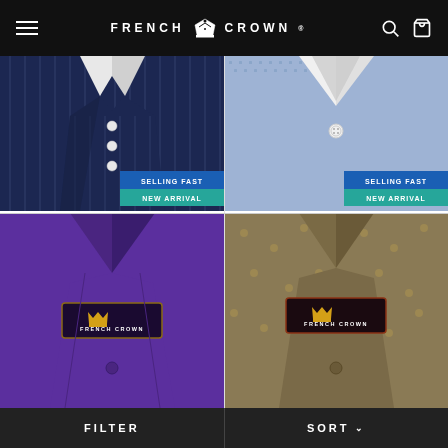FRENCH CROWN
[Figure (photo): Navy blue pinstripe shirt close-up with white buttons, with SELLING FAST and NEW ARRIVAL badges]
HAITI BLUE DOTTED...
RS. 2,597
[Figure (photo): Light blue dobby textured shirt close-up with white button, with SELLING FAST and NEW ARRIVAL badges]
BILOBA BLUE DOBBY...
RS. 3,497
[Figure (photo): Royal purple/blue solid shirt with French Crown label tag]
[Figure (photo): Khaki/beige patterned shirt with French Crown label tag]
FILTER    SORT